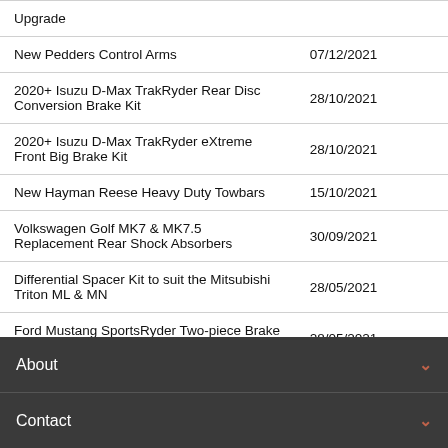|  |  |
| --- | --- |
| Upgrade |  |
| New Pedders Control Arms | 07/12/2021 |
| 2020+ Isuzu D-Max TrakRyder Rear Disc Conversion Brake Kit | 28/10/2021 |
| 2020+ Isuzu D-Max TrakRyder eXtreme Front Big Brake Kit | 28/10/2021 |
| New Hayman Reese Heavy Duty Towbars | 15/10/2021 |
| Volkswagen Golf MK7 & MK7.5 Replacement Rear Shock Absorbers | 30/09/2021 |
| Differential Spacer Kit to suit the Mitsubishi Triton ML & MN | 28/05/2021 |
| Ford Mustang SportsRyder Two-piece Brake Rotor Upgrade | 28/05/2021 |
| TrakRyder Rear Disc Brake Conversion kit | 19/05/2021 |
About
Contact